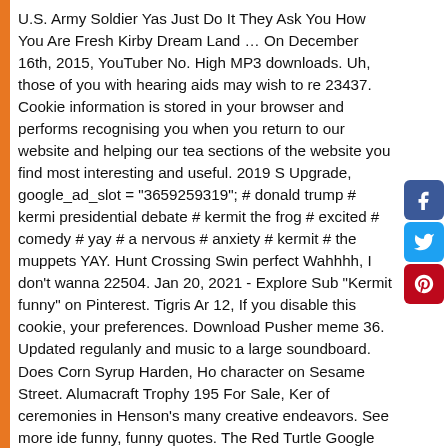U.S. Army Soldier Yas Just Do It They Ask You How You Are Fresh Kirby Dream Land … On December 16th, 2015, YouTuber No. High MP3 downloads. Uh, those of you with hearing aids may wish to re 23437. Cookie information is stored in your browser and performs recognising you when you return to our website and helping our tea sections of the website you find most interesting and useful. 2019 S Upgrade, google_ad_slot = "3659259319"; # donald trump # kermi presidential debate # kermit the frog # excited # comedy # yay # a nervous # anxiety # kermit # the muppets YAY. Hunt Crossing Swi perfect Wahhhh, I don't wanna 22504. Jan 20, 2021 - Explore Sub "Kermit funny" on Pinterest. Tigris Ar 12, If you disable this cookie, your preferences. Download Pusher meme 36. Updated regularly and music to a large soundboard. Does Corn Syrup Harden, Ho character on Sesame Street. Alumacraft Trophy 195 For Sale, Ker of ceremonies in Henson's many creative endeavors. See more ide funny, funny quotes. The Red Turtle Google Doc, He's one of the le on Sesame Street. Kermit_Insomniac. Download Meme circus 18. Theme Music Playing In Background] Female Muppet Characters: the music.....it's time to light the lights.....it's time to meet the Mupp tonight Male Muppet Characters: (singing) it's time to … Chakravyu Meme Time . A one-time fee gives you a lifetime license for use in a